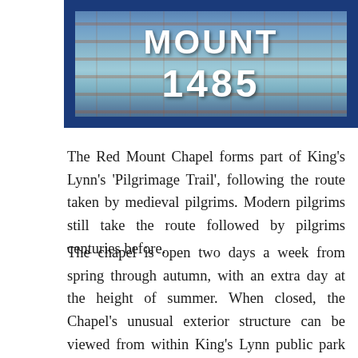[Figure (photo): A decorative blue-bordered ceramic or tile sign mounted on a brick wall, showing the text 'MOUNT' and '1485' in white lettering on a teal/green-blue background.]
The Red Mount Chapel forms part of King's Lynn's 'Pilgrimage Trail', following the route taken by medieval pilgrims. Modern pilgrims still take the route followed by pilgrims centuries before.
The chapel is open two days a week from spring through autumn, with an extra day at the height of summer. When closed, the Chapel's unusual exterior structure can be viewed from within King's Lynn public park known as The Walks, a short stroll from the historic town centre.